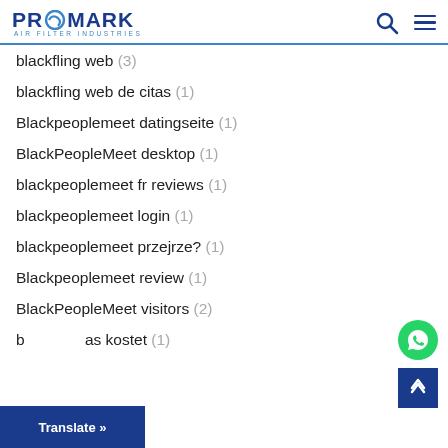PROMARK AIR FILTER INDUSTRIES
blackfling web (3)
blackfling web de citas (1)
Blackpeoplemeet datingseite (1)
BlackPeopleMeet desktop (1)
blackpeoplemeet fr reviews (1)
blackpeoplemeet login (1)
blackpeoplemeet przejrze? (1)
Blackpeoplemeet review (1)
BlackPeopleMeet visitors (2)
b... as kostet (1)